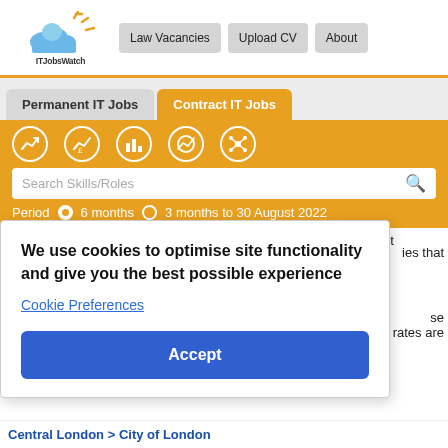[Figure (logo): ITJobsWatch logo with cloud and sun icon]
Law Vacancies | Upload CV | About
Permanent IT Jobs | Contract IT Jobs
[Figure (infographic): Five circular navigation icons on orange background (trend, salary, jobs, rate, network)]
Search Skills/Roles
Period  6 months  3 months to 30 August 2022
The table below looks at the prevalence of the term Law in contract
We use cookies to optimise site functionality and give you the best possible experience
Cookie Preferences
Accept
ies that
se
rates are
Central London > City of London